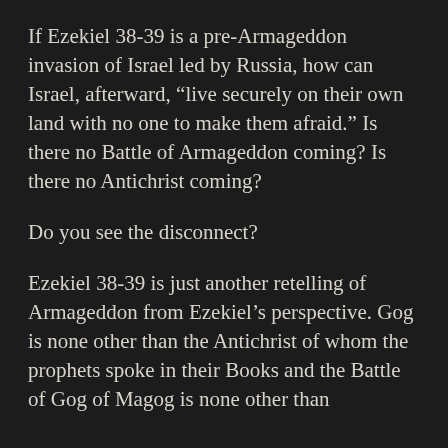If Ezekiel 38-39 is a pre-Armageddon invasion of Israel led by Russia, how can Israel, afterward, “live securely on their own land with no one to make them afraid.” Is there no Battle of Armageddon coming? Is there no Antichrist coming?
Do you see the disconnect?
Ezekiel 38-39 is just another retelling of Armageddon from Ezekiel’s perspective. Gog is none other than the Antichrist of whom the prophets spoke in their Books and the Battle of Gog of Magog is none other than